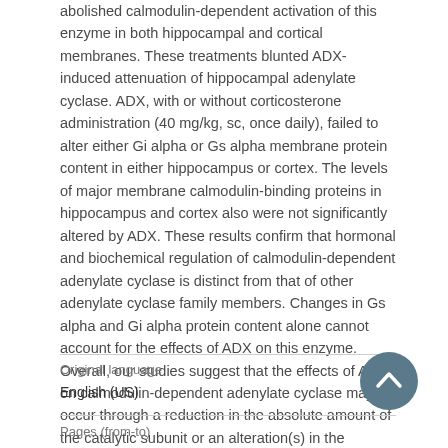abolished calmodulin-dependent activation of this enzyme in both hippocampal and cortical membranes. These treatments blunted ADX-induced attenuation of hippocampal adenylate cyclase. ADX, with or without corticosterone administration (40 mg/kg, sc, once daily), failed to alter either Gi alpha or Gs alpha membrane protein content in either hippocampus or cortex. The levels of major membrane calmodulin-binding proteins in hippocampus and cortex also were not significantly altered by ADX. These results confirm that hormonal and biochemical regulation of calmodulin-dependent adenylate cyclase is distinct from that of other adenylate cyclase family members. Changes in Gs alpha and Gi alpha protein content alone cannot account for the effects of ADX on this enzyme. Overall, our studies suggest that the effects of ADX on calmodulin-dependent adenylate cyclase may occur through a reduction in the absolute amount of the catalytic subunit or an alteration(s) in the efficiency of coupling between adenylate cyclase and its modulators.
| Original language |  |
| --- | --- |
| English (US) |  |
| Pages (from-to) |  |